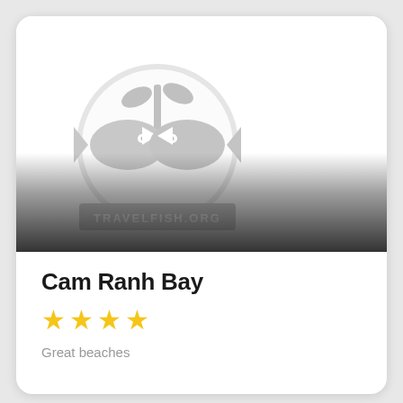[Figure (logo): Travelfish.org watermark logo — circular emblem with two stylized fish facing each other with a plant on top, text 'TRAVELFISH.ORG' on a banner below, rendered in light grey]
Cam Ranh Bay
[Figure (infographic): Four gold star rating out of five]
Great beaches